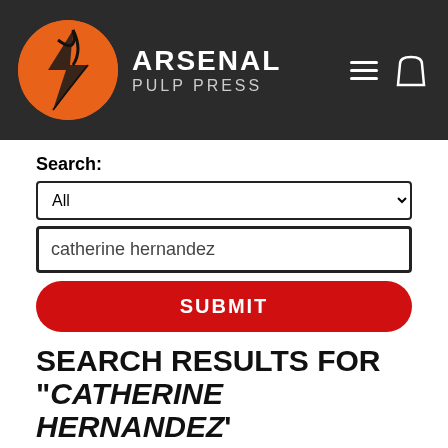[Figure (logo): Arsenal Pulp Press logo: orange circle with black stylized bird/lightning mark, white text ARSENAL PULP PRESS on dark background header with hamburger menu and shopping bag icons]
Search:
All
catherine hernandez
SUBMIT
SEARCH RESULTS FOR "CATHERINE HERNANDEZ'
Showing 1-9 of 9 results.
Sort by: Best match